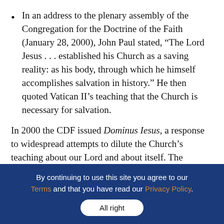In an address to the plenary assembly of the Congregation for the Doctrine of the Faith (January 28, 2000), John Paul stated, “The Lord Jesus . . . established his Church as a saving reality: as his body, through which he himself accomplishes salvation in history.” He then quoted Vatican II’s teaching that the Church is necessary for salvation.
In 2000 the CDF issued Dominus Iesus, a response to widespread attempts to dilute the Church’s teaching about our Lord and about itself. The English subtitle is itself significant: “On the Unicity and Salvific Universality of Jesus Christ and the Church.” It simply
By continuing to use this site you agree to our Terms and that you have read our Privacy Policy. All right